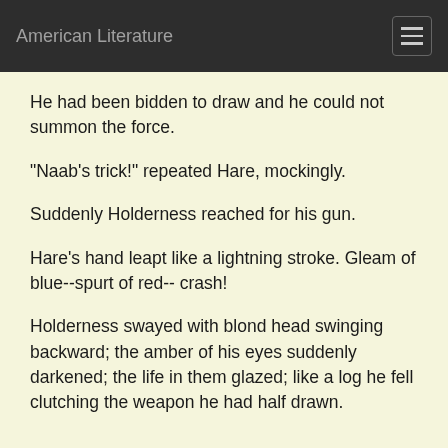American Literature
He had been bidden to draw and he could not summon the force.
"Naab's trick!" repeated Hare, mockingly.
Suddenly Holderness reached for his gun.
Hare's hand leapt like a lightning stroke. Gleam of blue--spurt of red-- crash!
Holderness swayed with blond head swinging backward; the amber of his eyes suddenly darkened; the life in them glazed; like a log he fell clutching the weapon he had half drawn.